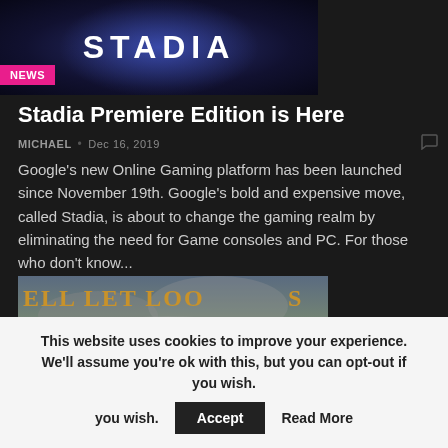[Figure (screenshot): Stadia logo on dark blue background with 'NEWS' badge overlay]
Stadia Premiere Edition is Here
MICHAEL • Dec 16, 2019
Google's new Online Gaming platform has been launched since November 19th. Google's bold and expensive move, called Stadia, is about to change the gaming realm by eliminating the need for Game consoles and PC. For those who don't know...
[Figure (screenshot): Hell Let Loose game banner with 'FEATURED' badge overlay]
This website uses cookies to improve your experience. We'll assume you're ok with this, but you can opt-out if you wish. Accept Read More